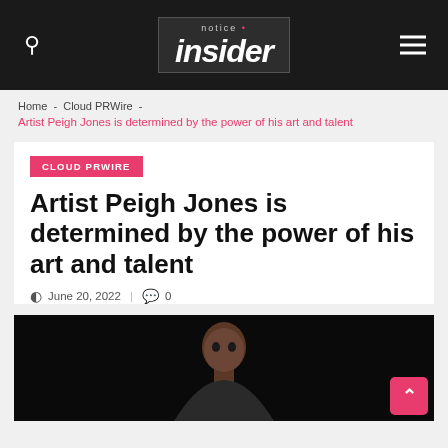notice insider
Home - Cloud PRWire -
Artist Peigh Jones is determined by the power of his art and talent
CLOUD PRWIRE
Artist Peigh Jones is determined by the power of his art and talent
June 20, 2022  |  0
[Figure (photo): Portrait photo of a person against a dark/black background]